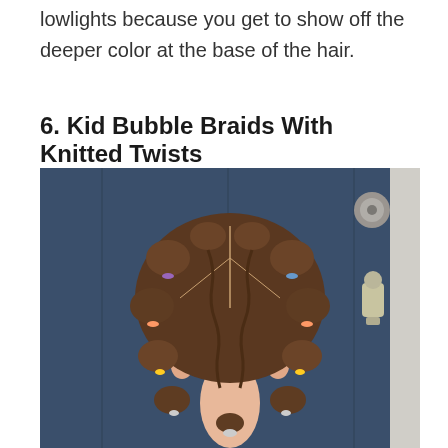lowlights because you get to show off the deeper color at the base of the hair.
6.  Kid Bubble Braids With Knitted Twists
[Figure (photo): Back view of a young girl with kid bubble braids with knitted twists hairstyle, standing in front of a dark navy blue door with a door handle and deadbolt visible on the right side.]